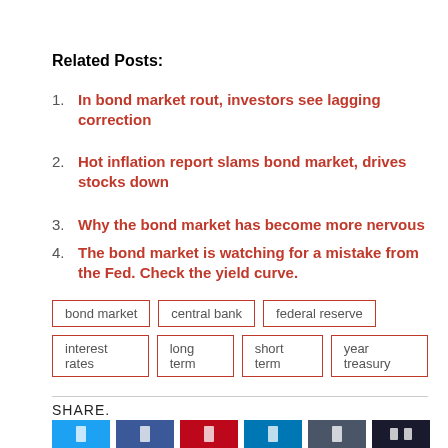Related Posts:
In bond market rout, investors see lagging correction
Hot inflation report slams bond market, drives stocks down
Why the bond market has become more nervous
The bond market is watching for a mistake from the Fed. Check the yield curve.
bond market   central bank   federal reserve   interest rates   long term   short term   year treasury
SHARE.